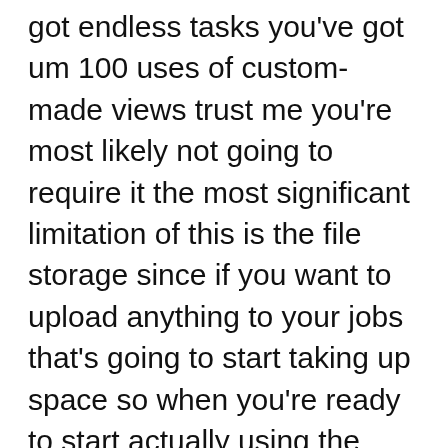got endless tasks you've got um 100 uses of custom-made views trust me you're most likely not going to require it the most significant limitation of this is the file storage since if you want to upload anything to your jobs that's going to start taking up space so when you're ready to start actually using the complete thing it's extremely low-cost it's one of the least pricey ones out there so 5 dollars each month per user and you get limitless everything now here's the important things that I love about this if you're a solopreneur and you don't have a full-time worker you're not dealing with somebody who's operating in every area of your service but perhaps you have some professionals ClickUp in fact has actually something called guests and what visitors